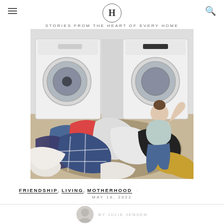H - STORIES FROM THE HEART OF EVERY HOME
[Figure (photo): Woman sitting on the floor in a laundry room, overwhelmed, with a large pile of unsorted clothes in front of her. Two front-loading washing machines are visible in the background.]
FRIENDSHIP, LIVING, MOTHERHOOD ·
MAY 18, 2022
BY JULIE JENSEN